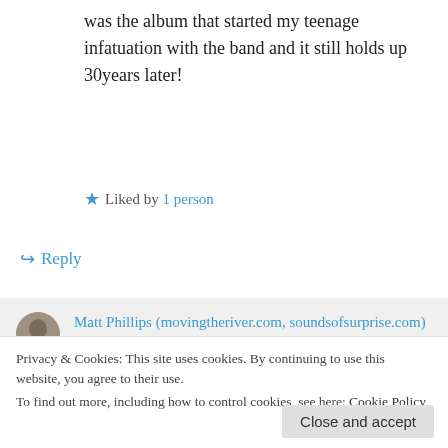was the album that started my teenage infatuation with the band and it still holds up 30years later!
★ Liked by 1 person
↪ Reply
Matt Phillips (movingtheriver.com, soundsofsurprise.com) on 26/10/2015 at 6:23 pm
Privacy & Cookies: This site uses cookies. By continuing to use this website, you agree to their use.
To find out more, including how to control cookies, see here: Cookie Policy
Close and accept
your favourite of their albums too?